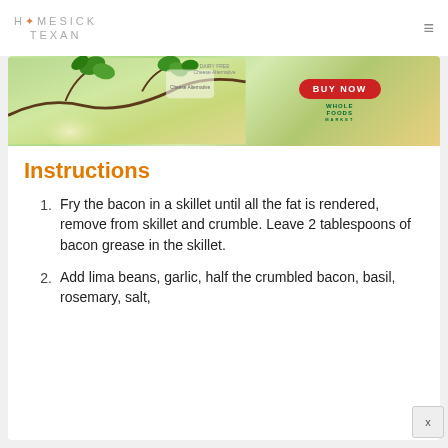HOMESICK TEXAN
[Figure (photo): Advertisement banner with green leaves/branches on left, BUY NOW red button and Whole Foods logo on right]
Instructions
Fry the bacon in a skillet until all the fat is rendered, remove from skillet and crumble. Leave 2 tablespoons of bacon grease in the skillet.
Add lima beans, garlic, half the crumbled bacon, basil, rosemary, salt,